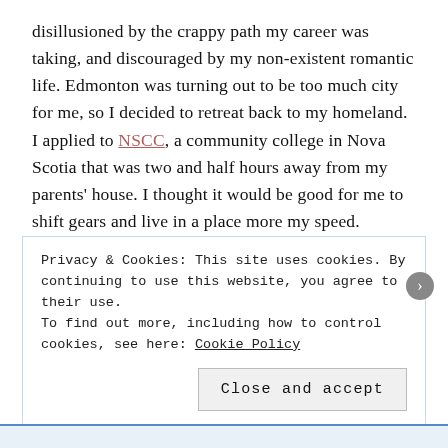disillusioned by the crappy path my career was taking, and discouraged by my non-existent romantic life. Edmonton was turning out to be too much city for me, so I decided to retreat back to my homeland. I applied to NSCC, a community college in Nova Scotia that was two and half hours away from my parents' house. I thought it would be good for me to shift gears and live in a place more my speed.
Michelle (my sister) drove me to the airport the day I left Edmonton. I held it together long enough to hug her and make my way through security. After that, it was game over. Tears welled up in my eyes, obscuring my view as I looked
Privacy & Cookies: This site uses cookies. By continuing to use this website, you agree to their use.
To find out more, including how to control cookies, see here: Cookie Policy

Close and accept